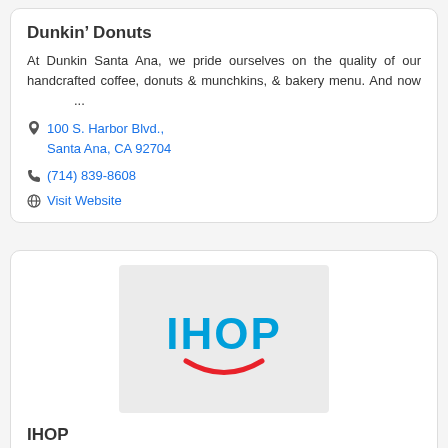Dunkin' Donuts
At Dunkin Santa Ana, we pride ourselves on the quality of our handcrafted coffee, donuts & munchkins, & bakery menu. And now ...
100 S. Harbor Blvd., Santa Ana, CA 92704
(714) 839-8608
Visit Website
[Figure (logo): IHOP restaurant logo — blue text 'IHOP' with a red smile arc beneath, on a light gray background]
IHOP